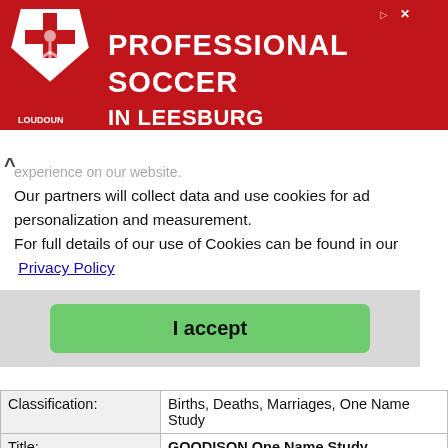[Figure (illustration): Red advertisement banner for Loudoun Soccer featuring a shield logo and text 'PROFESSIONAL SOCCER IN LEESBURG']
Our partners will collect data and use cookies for ad personalization and measurement. For full details of our use of Cookies can be found in our Privacy Policy
I accept
| Classification: | Births, Deaths, Marriages, One Name Study |
| Title: | GOODISON One Name Study |
| Link: | http://www.gooderson.org/goodison/ |
| Description: | GOODISON One Name Study |
| Classification: | Baptisms, Births, Burials / Cremations, Census, Deaths, Marriages, Monumental Inscriptions, One Name Study, War Memorials & Other Memorials, Wills / Probate |